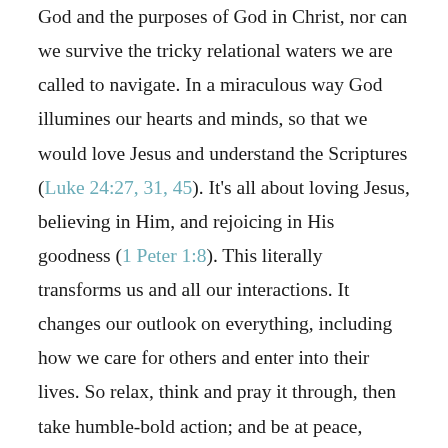God and the purposes of God in Christ, nor can we survive the tricky relational waters we are called to navigate. In a miraculous way God illumines our hearts and minds, so that we would love Jesus and understand the Scriptures (Luke 24:27, 31, 45). It's all about loving Jesus, believing in Him, and rejoicing in His goodness (1 Peter 1:8). This literally transforms us and all our interactions. It changes our outlook on everything, including how we care for others and enter into their lives. So relax, think and pray it through, then take humble-bold action; and be at peace, knowing God has it covered and will act for His glory and your good (Rom. 8:28-30).